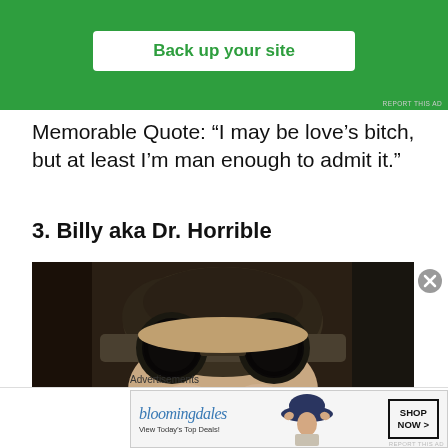[Figure (other): Green advertisement banner with 'Back up your site' button and 'REPORT THIS AD' text]
Memorable Quote: “I may be love’s bitch, but at least I’m man enough to admit it.”
3. Billy aka Dr. Horrible
[Figure (photo): Close-up photo of a young man wearing large round black goggles on his forehead, looking downward with a serious expression, against a dark background.]
Advertisements
[Figure (other): Bloomingdale's advertisement: 'View Today’s Top Deals!' with woman in blue hat and 'SHOP NOW >' button]